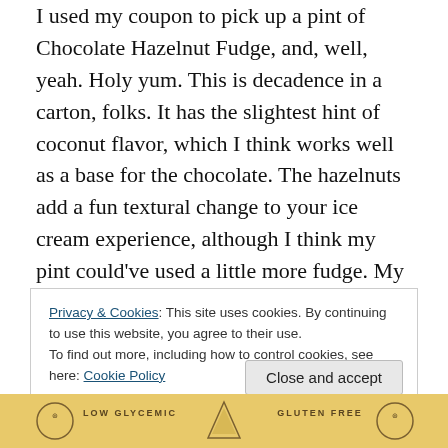I used my coupon to pick up a pint of Chocolate Hazelnut Fudge, and, well, yeah. Holy yum. This is decadence in a carton, folks. It has the slightest hint of coconut flavor, which I think works well as a base for the chocolate. The hazelnuts add a fun textural change to your ice cream experience, although I think my pint could've used a little more fudge. My only other [eensy-weensy, super-tiny] complaint is that I wish the ice cream were just a bit creamier, but I may be spoiled because the last dairy ice cream I ate was gelato… in Italy. So. Yeah. Take that minor complaint with a [big, gigantic, humongous] grain of
Privacy & Cookies: This site uses cookies. By continuing to use this website, you agree to their use.
To find out more, including how to control cookies, see here: Cookie Policy
Close and accept
[Figure (photo): Bottom portion of a product package showing 'Low Glycemic' and 'Gluten Free' labels with badge and triangle icons on a golden/tan background]